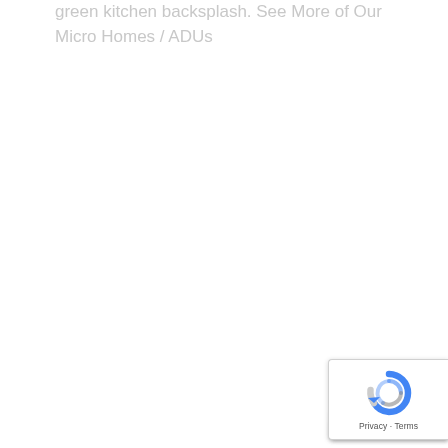green kitchen backsplash. See More of Our Micro Homes / ADUs
[Figure (logo): Google reCAPTCHA badge with spinning logo and Privacy - Terms text]